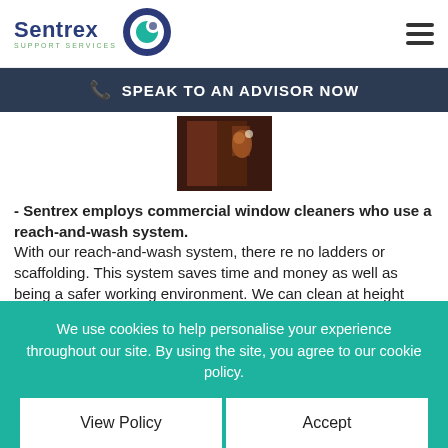Sentrex Support Services
SPEAK TO AN ADVISOR NOW
[Figure (photo): A partial photo showing a person cleaning a window from inside, dark reddish tones]
- Sentrex employs commercial window cleaners who use a reach-and-wash system. With our reach-and-wash system, there re no ladders or scaffolding. This system saves time and money as well as being a safer working environment. We can clean at height inside or outside your premises,
We use cookies to help personalise your experience throughout our site. By using the site, you agree to our cookie policy.
View Policy    Accept